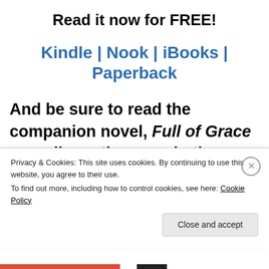Read it now for FREE!
Kindle | Nook | iBooks | Paperback
And be sure to read the companion novel, Full of Grace as well–another gem in the Crossed and Bared series.
Privacy & Cookies: This site uses cookies. By continuing to use this website, you agree to their use.
To find out more, including how to control cookies, see here: Cookie Policy
Close and accept